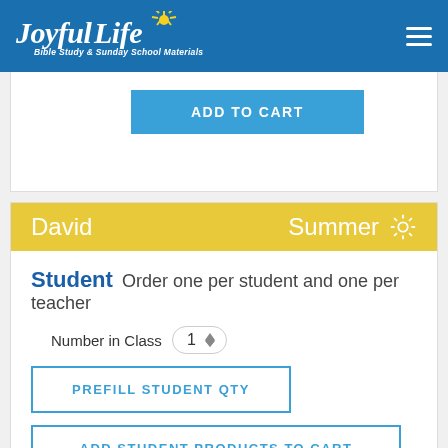Joyful Life - Bible Study & Sunday School Materials
ADD TO CART
David  Summer
Student Order one per student and one per teacher
Number in Class 1
PREFILL STUDENT QTY
ADD STUDENT PRODUCTS TO CART